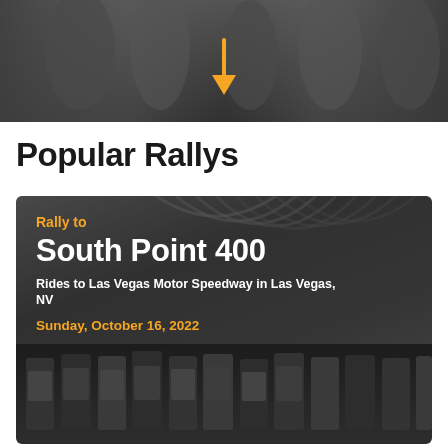[Figure (photo): Partial top photo showing people, with a gold/yellow downward arrow overlaid in the center]
Popular Rallys
[Figure (photo): Rally card with dark background showing racing venue grandstands and a row of motorcycles at the bottom. Text overlay reads: Rally to / South Point 400 / Rides to Las Vegas Motor Speedway in Las Vegas, NV / Sunday, October 16, 2022]